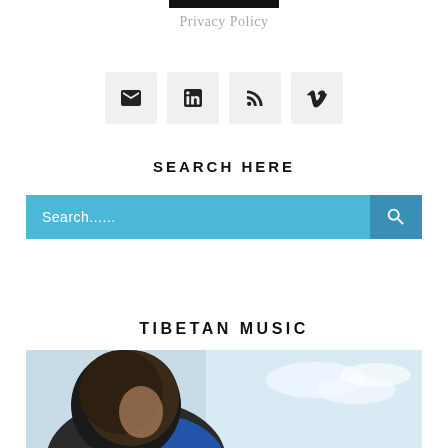Privacy Policy
[Figure (infographic): Row of four social media icon buttons: email/envelope, LinkedIn, RSS feed, Vimeo]
SEARCH HERE
[Figure (infographic): Search input bar with placeholder text 'Search......' on a blue background with a search icon button on the right]
TIBETAN MUSIC
[Figure (photo): Close-up photo of a person with dark hair wearing a blue garment, sky visible in background]